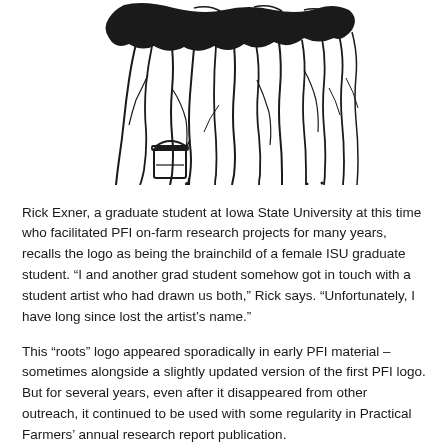[Figure (illustration): Black and white ink drawing of plant roots hanging down from soil, with a small bucket/container collecting liquid dripping from the roots. The illustration serves as a logo depicting plant root systems.]
Rick Exner, a graduate student at Iowa State University at this time who facilitated PFI on-farm research projects for many years, recalls the logo as being the brainchild of a female ISU graduate student. “I and another grad student somehow got in touch with a student artist who had drawn us both,” Rick says. “Unfortunately, I have long since lost the artist’s name.”
This “roots” logo appeared sporadically in early PFI material – sometimes alongside a slightly updated version of the first PFI logo. But for several years, even after it disappeared from other outreach, it continued to be used with some regularity in Practical Farmers’ annual research report publication.
Starting in fall 1988, the updated acronym logo – with the letters “F” and